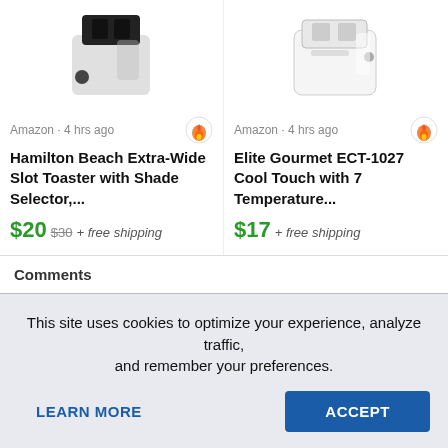[Figure (photo): Hamilton Beach black and white toaster product image, partially cropped at top]
[Figure (photo): Elite Gourmet white toaster product image, partially cropped at top]
Amazon · 4 hrs ago
Amazon · 4 hrs ago
Hamilton Beach Extra-Wide Slot Toaster with Shade Selector,...
Elite Gourmet ECT-1027 Cool Touch with 7 Temperature...
$20 $30 + free shipping
$17 + free shipping
Comments
Leave a comment!
This site uses cookies to optimize your experience, analyze traffic, and remember your preferences.
LEARN MORE
ACCEPT